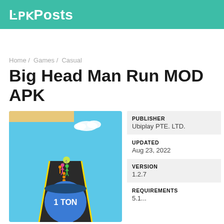APKPosts
Home / Games / Casual
Big Head Man Run MOD APK
[Figure (screenshot): Game screenshot showing a 3D runner game with a blue ball character labeled '1 TON' on a dark road with colorful stick figures running ahead, sky background with clouds]
| Field | Value |
| --- | --- |
| PUBLISHER | Ubiplay PTE. LTD. |
| UPDATED | Aug 23, 2022 |
| VERSION | 1.2.7 |
| REQUIREMENTS | 5.1... |